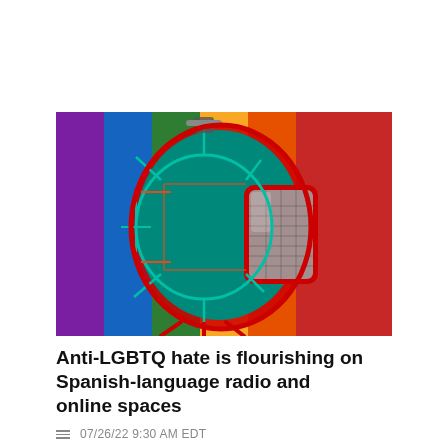[Figure (illustration): A stylized illustration of a studio microphone with a red outline, set against a rainbow pride flag background with vertical stripes of purple, blue, green, yellow, orange, and red. The microphone has a colorful metallic appearance with abstract squiggly lines on the right side.]
Anti-LGBTQ hate is flourishing on Spanish-language radio and online spaces
07/26/22 9:30 AM EDT